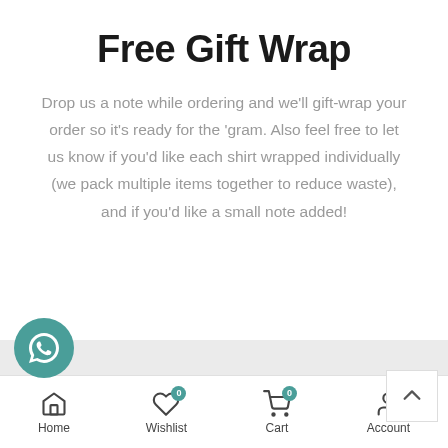Free Gift Wrap
Drop us a note while ordering and we'll gift-wrap your order so it's ready for the 'gram. Also feel free to let us know if you'd like each shirt wrapped individually (we pack multiple items together to reduce waste), and if you'd like a small note added!
[Figure (infographic): WhatsApp contact button (teal circle with WhatsApp phone icon)]
[Figure (infographic): Scroll to top button (white square with upward chevron)]
Home | Wishlist 0 | Cart 0 | Account